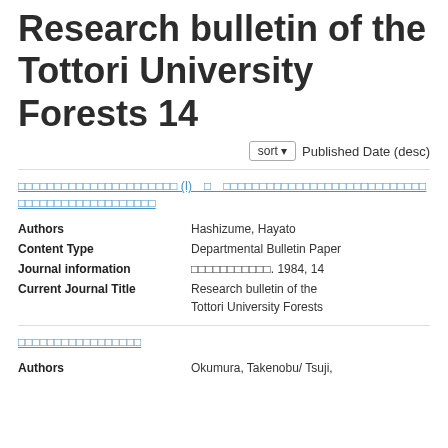Research bulletin of the Tottori University Forests 14
sort ▼   Published Date (desc)
□□□□□□□□□□□□□□□□□□□□□□ (I) □ □□□□□□□□□□□□□□□□□□□□□□□□□□□□ □□□□□□□□□□□□□□□□□□□
| Label | Value |
| --- | --- |
| Authors | Hashizume, Hayato |
| Content Type | Departmental Bulletin Paper |
| Journal information | □□□□□□□□□□□. 1984, 14 |
| Current Journal Title | Research bulletin of the Tottori University Forests |
□□□□□□□□□□□□□□□□□
| Label | Value |
| --- | --- |
| Authors | Okumura, Takenobu/ Tsuji, |